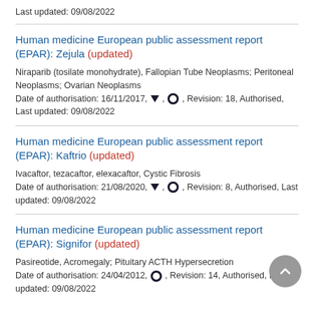Last updated: 09/08/2022
Human medicine European public assessment report (EPAR): Zejula (updated)
Niraparib (tosilate monohydrate), Fallopian Tube Neoplasms; Peritoneal Neoplasms; Ovarian Neoplasms
Date of authorisation: 16/11/2017, [triangle], [circle], Revision: 18, Authorised, Last updated: 09/08/2022
Human medicine European public assessment report (EPAR): Kaftrio (updated)
Ivacaftor, tezacaftor, elexacaftor, Cystic Fibrosis
Date of authorisation: 21/08/2020, [triangle], [circle], Revision: 8, Authorised, Last updated: 09/08/2022
Human medicine European public assessment report (EPAR): Signifor (updated)
Pasireotide, Acromegaly; Pituitary ACTH Hypersecretion
Date of authorisation: 24/04/2012, [circle], Revision: 14, Authorised, Last updated: 09/08/2022